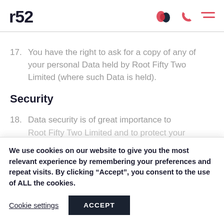r52
17. You have the right to ask for a copy of any of your personal Data held by Root Fifty Two Limited (where such Data is held).
Security
18. Data security is of great importance to Root Fifty Two Limited and to protect your...
We use cookies on our website to give you the most relevant experience by remembering your preferences and repeat visits. By clicking “Accept”, you consent to the use of ALL the cookies.